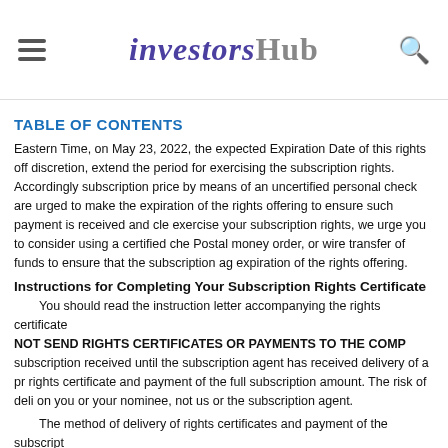investorshub
TABLE OF CONTENTS
Eastern Time, on May 23, 2022, the expected Expiration Date of this rights off discretion, extend the period for exercising the subscription rights. Accordingly subscription price by means of an uncertified personal check are urged to make the expiration of the rights offering to ensure such payment is received and cle exercise your subscription rights, we urge you to consider using a certified che Postal money order, or wire transfer of funds to ensure that the subscription ag expiration of the rights offering.
Instructions for Completing Your Subscription Rights Certificate
You should read the instruction letter accompanying the rights certificate NOT SEND RIGHTS CERTIFICATES OR PAYMENTS TO THE COMP subscription received until the subscription agent has received delivery of a pr rights certificate and payment of the full subscription amount. The risk of deli on you or your nominee, not us or the subscription agent.
The method of delivery of rights certificates and payment of the subscript will be at the risk of the holders of rights, but, if sent by mail, we recommend payments by overnight courier or by registered mail, properly insured, with ret